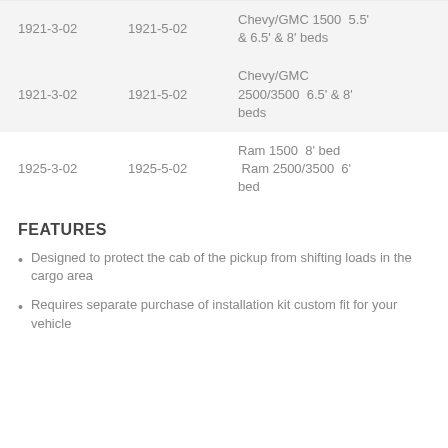| 1921-3-02 | 1921-5-02 | Chevy/GMC 1500  5.5' & 6.5' & 8' beds |
| 1921-3-02 | 1921-5-02 | Chevy/GMC 2500/3500  6.5' & 8' beds |
| 1925-3-02 | 1925-5-02 | Ram 1500  8' bed  Ram 2500/3500  6' bed |
FEATURES
Designed to protect the cab of the pickup from shifting loads in the cargo area
Requires separate purchase of installation kit custom fit for your vehicle